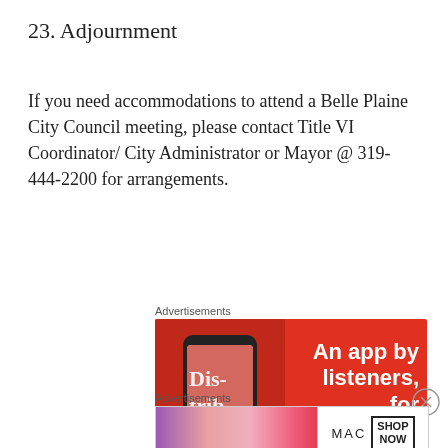23. Adjournment
If you need accommodations to attend a Belle Plaine City Council meeting, please contact Title VI Coordinator/ City Administrator or Mayor @ 319-444-2200 for arrangements.
Advertisements
[Figure (photo): Advertisement banner with red background showing a smartphone with 'Dis-trib-uted' text and tagline 'An app by listeners, for listeners.']
Advertisements
[Figure (photo): MAC cosmetics advertisement showing lipsticks with 'SHOP NOW' button.]